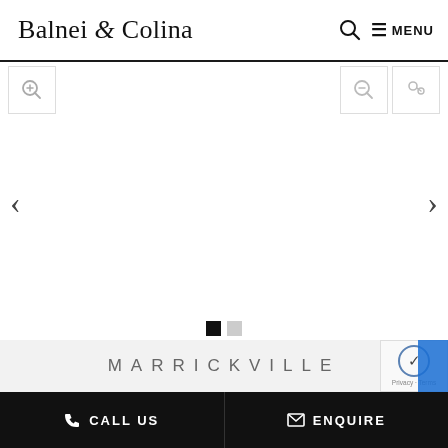Balnei & Colina — MENU
[Figure (screenshot): Image carousel/slider area with zoom and navigation icons, currently showing a blank/white slide with left and right navigation arrows]
MARRICKVILLE
CALL US   ENQUIRE